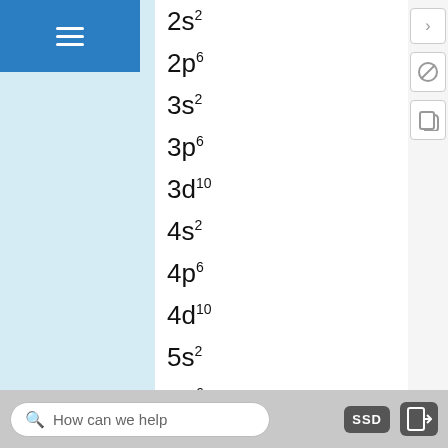2s²
2p⁶
3s²
3p⁶
3d¹⁰
4s²
4p⁶
4d¹⁰
5s²
5p⁶